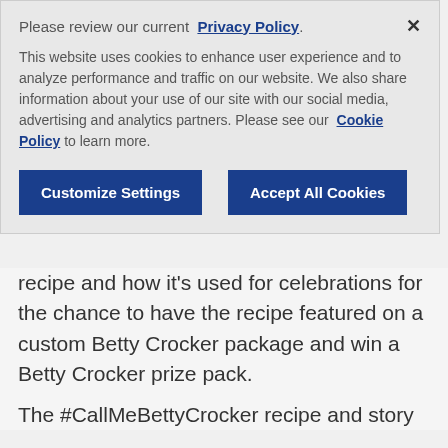Please review our current Privacy Policy.
This website uses cookies to enhance user experience and to analyze performance and traffic on our website. We also share information about your use of our site with our social media, advertising and analytics partners. Please see our Cookie Policy to learn more.
Customize Settings
Accept All Cookies
recipe and how it's used for celebrations for the chance to have the recipe featured on a custom Betty Crocker package and win a Betty Crocker prize pack.
The #CallMeBettyCrocker recipe and story